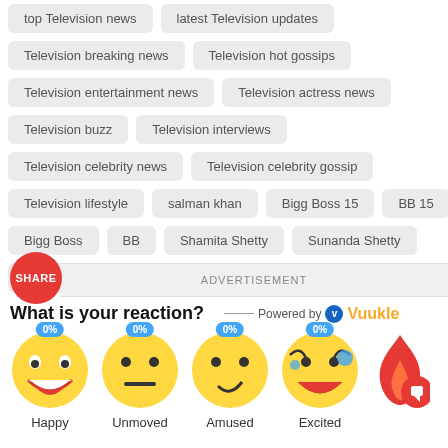top Television news
latest Television updates
Television breaking news
Television hot gossips
Television entertainment news
Television actress news
Television buzz
Television interviews
Television celebrity news
Television celebrity gossip
Television lifestyle
salman khan
Bigg Boss 15
BB 15
Bigg Boss
BB
Shamita Shetty
Sunanda Shetty
Raqesh Bapat
ShaRa
ADVERTISEMENT
What is your reaction?
Powered by Vuukle
[Figure (infographic): Emoji reaction buttons: Happy 0%, Unmoved 0%, Amused 0%, Excited 0%, and a fire/chat icon]